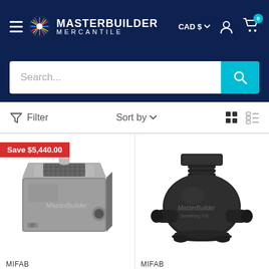Masterbuilder Mercantile — CAD $ — Cart 0
[Figure (screenshot): Search bar with cyan search button]
Filter  Sort by  (grid/list view icons)
[Figure (photo): MIFAB stainless steel grease interceptor product with Save $5,440.00 badge]
MIFAB
[Figure (photo): MIFAB black plastic drain/backwater valve product]
MIFAB